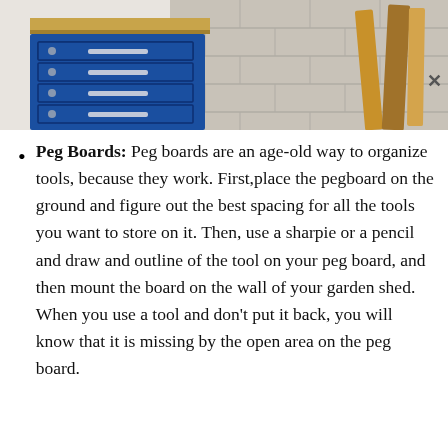[Figure (photo): A workshop scene showing a blue metal tool cabinet with drawers on the left, and wooden boards leaning against a concrete block wall on the right. A close (X) button appears at the top right of the image.]
Peg Boards: Peg boards are an age-old way to organize tools, because they work. First,place the pegboard on the ground and figure out the best spacing for all the tools you want to store on it. Then, use a sharpie or a pencil and draw and outline of the tool on your peg board, and then mount the board on the wall of your garden shed. When you use a tool and don't put it back, you will know that it is missing by the open area on the peg board.